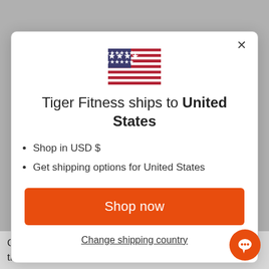[Figure (illustration): Background showing a blurred image with gray overlay and text at the bottom reading 'One former independent nutritional consultant that for the meat industry said red meat was linked to 3']
[Figure (illustration): Modal dialog with US flag icon, title 'Tiger Fitness ships to United States', bullet list, orange shop now button, and change shipping country link]
Tiger Fitness ships to United States
Shop in USD $
Get shipping options for United States
Shop now
Change shipping country
One former independent nutritional consultant that for the meat industry said red meat was linked to 3